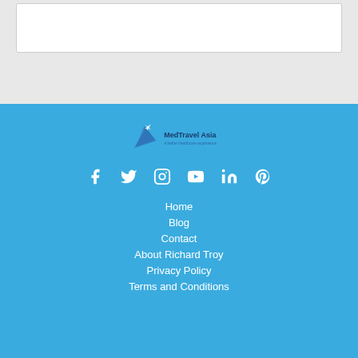[Figure (other): White content box on light gray background at top of page]
[Figure (logo): MedTravel Asia logo - A better healthcare experience, with airplane icon and teal/dark blue colors]
[Figure (other): Social media icons row: Facebook, Twitter, Instagram, YouTube, LinkedIn, Pinterest - all white on blue background]
Home
Blog
Contact
About Richard Troy
Privacy Policy
Terms and Conditions